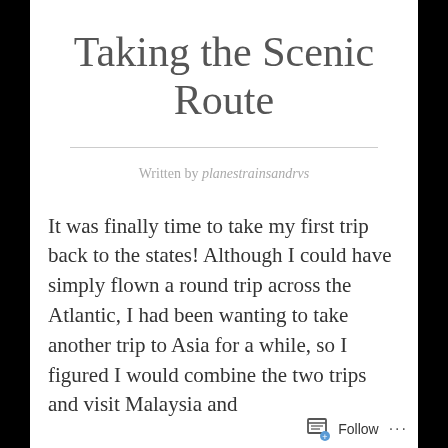Taking the Scenic Route
Written by planestrainsandrvs
It was finally time to take my first trip back to the states! Although I could have simply flown a round trip across the Atlantic, I had been wanting to take another trip to Asia for a while, so I figured I would combine the two trips and visit Malaysia and